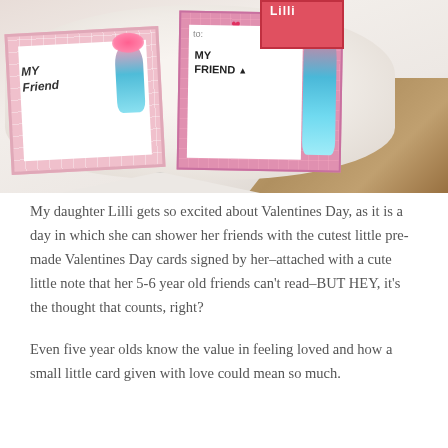[Figure (photo): Photo of Trolls-themed Valentine's Day cards laid out on a white round table. Two pink and white cards are visible with 'MY FRIEND' written on them, featuring the Poppy troll character. The background shows a wood floor.]
My daughter Lilli gets so excited about Valentines Day, as it is a day in which she can shower her friends with the cutest little pre-made Valentines Day cards signed by her–attached with a cute little note that her 5-6 year old friends can't read–BUT HEY, it's the thought that counts, right?
Even five year olds know the value in feeling loved and how a small little card given with love could mean so much.